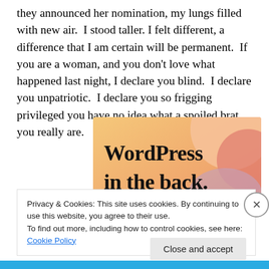they announced her nomination, my lungs filled with new air.  I stood taller. I felt different, a difference that I am certain will be permanent.  If you are a woman, and you don't love what happened last night, I declare you blind.  I declare you unpatriotic.  I declare you so frigging privileged you have no idea what a spoiled brat you really are.
[Figure (illustration): WordPress advertisement banner with colorful blob shapes (peach, pink, lavender) on gradient background. Text reads 'WordPress in the back.' in bold serif font.]
Privacy & Cookies: This site uses cookies. By continuing to use this website, you agree to their use.
To find out more, including how to control cookies, see here: Cookie Policy
Close and accept